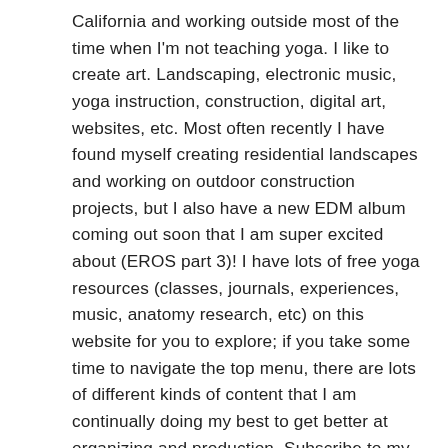California and working outside most of the time when I'm not teaching yoga. I like to create art. Landscaping, electronic music, yoga instruction, construction, digital art, websites, etc. Most often recently I have found myself creating residential landscapes and working on outdoor construction projects, but I also have a new EDM album coming out soon that I am super excited about (EROS part 3)! I have lots of free yoga resources (classes, journals, experiences, music, anatomy research, etc) on this website for you to explore; if you take some time to navigate the top menu, there are lots of different kinds of content that I am continually doing my best to get better at organizing and production. Subscribe to my website for updates on my projects and art! Also, subscribe to my youtube channel to practice yoga with me!